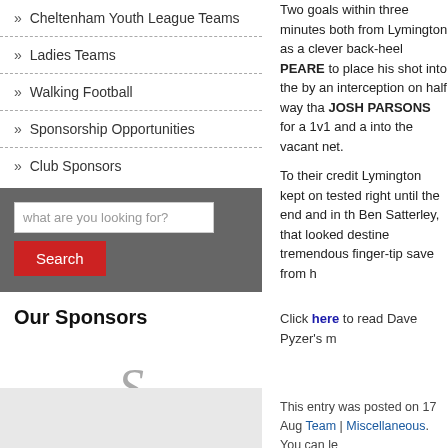» Cheltenham Youth League Teams
» Ladies Teams
» Walking Football
» Sponsorship Opportunities
» Club Sponsors
what are you looking for? [Search input]
Search [button]
Our Sponsors
[Figure (logo): Statehouse Financial Advisers logo with decorative S lettermark and ornamental flourish]
Two goals within three minutes both from Lymington as a clever back-heel PEARE to place his shot into the by an interception on half way that JOSH PARSONS for a 1v1 and a into the vacant net.
To their credit Lymington kept on tested right until the end and in th Ben Satterley, that looked destine tremendous finger-tip save from h
Click here to read Dave Pyzer's m
This entry was posted on 17 Aug Team | Miscellaneous. You can le
Bookmark with:
Delicious  Digg  Re...